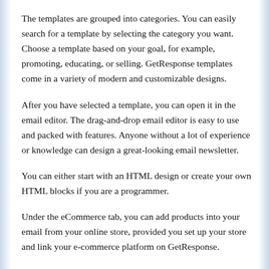The templates are grouped into categories. You can easily search for a template by selecting the category you want. Choose a template based on your goal, for example, promoting, educating, or selling. GetResponse templates come in a variety of modern and customizable designs.
After you have selected a template, you can open it in the email editor. The drag-and-drop email editor is easy to use and packed with features. Anyone without a lot of experience or knowledge can design a great-looking email newsletter.
You can either start with an HTML design or create your own HTML blocks if you are a programmer.
Under the eCommerce tab, you can add products into your email from your online store, provided you set up your store and link your e-commerce platform on GetResponse.